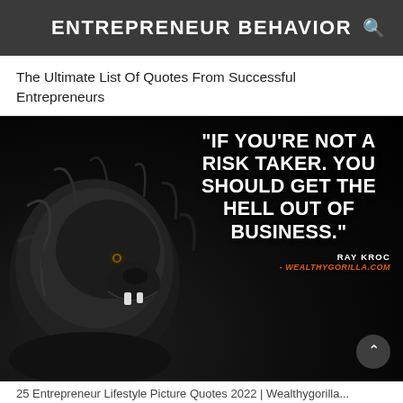ENTREPRENEUR BEHAVIOR
The Ultimate List Of Quotes From Successful Entrepreneurs
[Figure (photo): Black and white close-up photo of a roaring lion's head with a motivational quote overlay: "If you're not a risk taker. You should get the hell out of business." — Ray Kroc, attributed to wealthygorilla.com]
25 Entrepreneur Lifestyle Picture Quotes 2022 | Wealthygorilla...